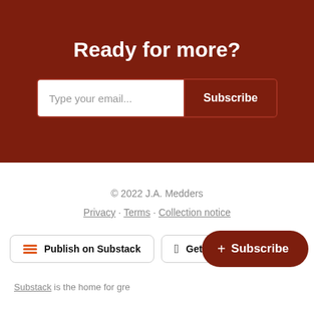Ready for more?
[Figure (other): Email subscription bar with text input 'Type your email...' and a 'Subscribe' button]
© 2022 J.A. Medders
Privacy · Terms · Collection notice
[Figure (other): Two buttons: 'Publish on Substack' with orange Substack icon, and 'Get the app' with Apple logo]
Substack is the home for gre
[Figure (other): Floating dark red Subscribe button with + sign]